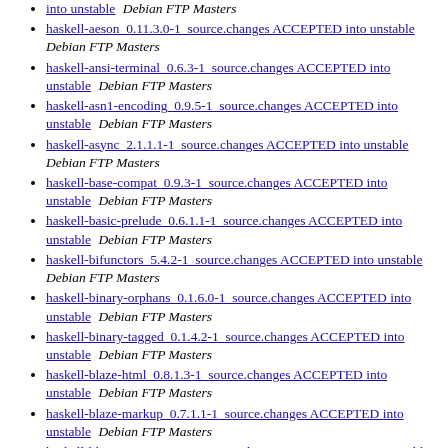[partial] ACCEPTED into unstable  Debian FTP Masters
haskell-aeson 0.11.3.0-1 source.changes ACCEPTED into unstable  Debian FTP Masters
haskell-ansi-terminal 0.6.3-1 source.changes ACCEPTED into unstable  Debian FTP Masters
haskell-asn1-encoding 0.9.5-1 source.changes ACCEPTED into unstable  Debian FTP Masters
haskell-async 2.1.1.1-1 source.changes ACCEPTED into unstable  Debian FTP Masters
haskell-base-compat 0.9.3-1 source.changes ACCEPTED into unstable  Debian FTP Masters
haskell-basic-prelude 0.6.1.1-1 source.changes ACCEPTED into unstable  Debian FTP Masters
haskell-bifunctors 5.4.2-1 source.changes ACCEPTED into unstable  Debian FTP Masters
haskell-binary-orphans 0.1.6.0-1 source.changes ACCEPTED into unstable  Debian FTP Masters
haskell-binary-tagged 0.1.4.2-1 source.changes ACCEPTED into unstable  Debian FTP Masters
haskell-blaze-html 0.8.1.3-1 source.changes ACCEPTED into unstable  Debian FTP Masters
haskell-blaze-markup 0.7.1.1-1 source.changes ACCEPTED into unstable  Debian FTP Masters
haskell-blaze-svg 0.3.6.1-1 source.changes ACCEPTED into unstable  Debian FTP Masters